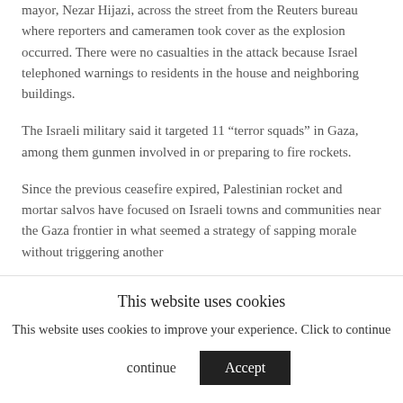mayor, Nezar Hijazi, across the street from the Reuters bureau where reporters and cameramen took cover as the explosion occurred. There were no casualties in the attack because Israel telephoned warnings to residents in the house and neighboring buildings.
The Israeli military said it targeted 11 “terror squads” in Gaza, among them gunmen involved in or preparing to fire rockets.
Since the previous ceasefire expired, Palestinian rocket and mortar salvos have focused on Israeli towns and communities near the Gaza frontier in what seemed a strategy of sapping morale without triggering another
This website uses cookies
This website uses cookies to improve your experience. Click to continue